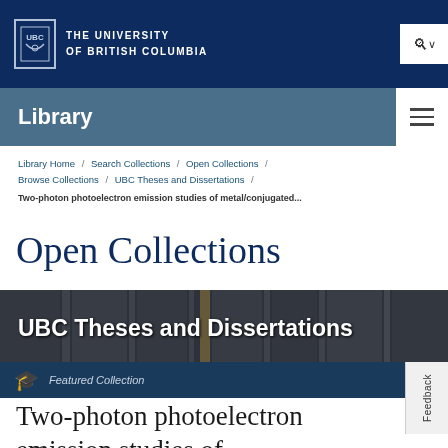THE UNIVERSITY OF BRITISH COLUMBIA
Library
Library Home / Search Collections / Open Collections / Browse Collections / UBC Theses and Dissertations /
Two-photon photoelectron emission studies of metal/conjugated...
Open Collections
[Figure (photo): Banner image showing library shelves/stacks with text overlay 'UBC Theses and Dissertations']
Featured Collection
Two-photon photoelectron emission studies of